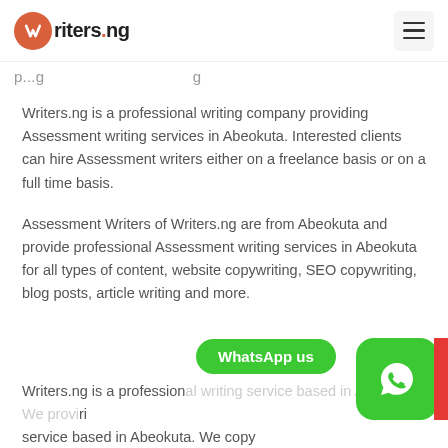Writers.ng
Writers.ng is a professional writing company providing Assessment writing services in Abeokuta. Interested clients can hire Assessment writers either on a freelance basis or on a full time basis.
Assessment Writers of Writers.ng are from Abeokuta and provide professional Assessment writing services in Abeokuta for all types of content, website copywriting, SEO copywriting, blog posts, article writing and more.
Writers.ng is a professional writing service based in Abeokuta. We provide copy services, editing services, ghostwriting services and...